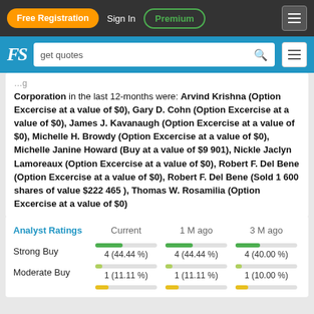Free Registration  Sign In  Premium
FS  get quotes
Corporation in the last 12-months were: Arvind Krishna (Option Excercise at a value of $0), Gary D. Cohn (Option Excercise at a value of $0), James J. Kavanaugh (Option Excercise at a value of $0), Michelle H. Browdy (Option Excercise at a value of $0), Michelle Janine Howard (Buy at a value of $9 901), Nickle Jaclyn Lamoreaux (Option Excercise at a value of $0), Robert F. Del Bene (Option Excercise at a value of $0), Robert F. Del Bene (Sold 1 600 shares of value $222 465 ), Thomas W. Rosamilia (Option Excercise at a value of $0)
| Analyst Ratings | Current | 1 M ago | 3 M ago |
| --- | --- | --- | --- |
| Strong Buy | 4 (44.44 %) | 4 (44.44 %) | 4 (40.00 %) |
| Moderate Buy | 1 (11.11 %) | 1 (11.11 %) | 1 (10.00 %) |